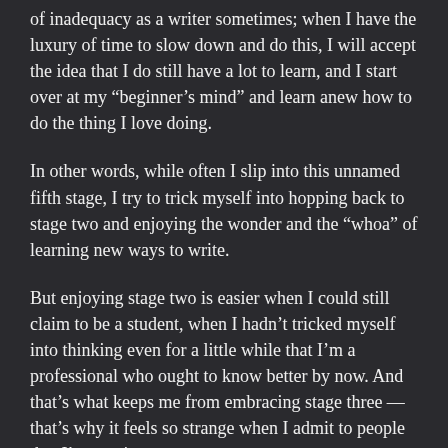of inadequacy as a writer sometimes; when I have the luxury of time to slow down and do this, I will accept the idea that I do still have a lot to learn, and I start over at my “beginner’s mind” and learn anew how to do the thing I love doing.
In other words, while often I slip into this unnamed fifth stage, I try to trick myself into hopping back to stage two and enjoying the wonder and the “whoa” of learning new ways to write.
But enjoying stage two is easier when I could still claim to be a student, when I hadn’t tricked myself into thinking even for a little while that I’m a professional who ought to know better by now. And that’s what keeps me from embracing stage three — that’s why it feels so strange when I admit to people that I’m a writer.